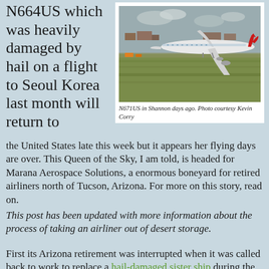N664US which was heavily damaged by hail on a flight to Seoul Korea last month will return to
[Figure (photo): A Boeing 747 aircraft (N671US) on a grass-bordered runway at Shannon airport, viewed from the side, with airport buildings in the background.]
N671US in Shannon days ago. Photo courtesy Kevin Corry
the United States late this week but it appears her flying days are over. This Queen of the Sky, I am told, is headed for Marana Aerospace Solutions, a enormous boneyard for retired airliners north of Tucson, Arizona. For more on this story, read on.
This post has been updated with more information about the process of taking an airliner out of desert storage.
First its Arizona retirement was interrupted when it was called back to work to replace a hail-damaged sister ship during the busy summer travel season. Then the Boeing 747 N671US had to make an emergency landing in Shannon, Ireland.